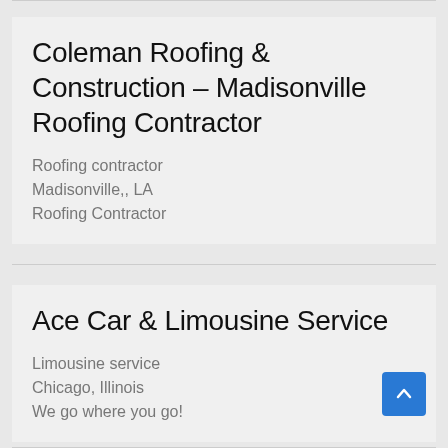Coleman Roofing & Construction – Madisonville Roofing Contractor
Roofing contractor
Madisonville,, LA
Roofing Contractor
Ace Car & Limousine Service
Limousine service
Chicago, Illinois
We go where you go!